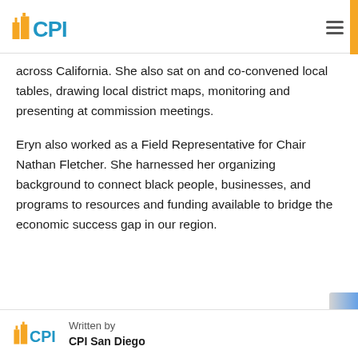CPI
across California. She also sat on and co-convened local tables, drawing local district maps, monitoring and presenting at commission meetings.
Eryn also worked as a Field Representative for Chair Nathan Fletcher. She harnessed her organizing background to connect black people, businesses, and programs to resources and funding available to bridge the economic success gap in our region.
Written by
CPI San Diego